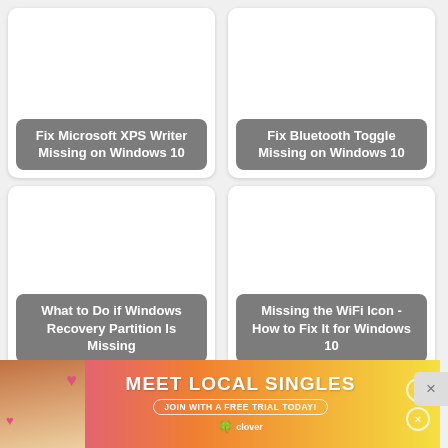[Figure (screenshot): Card: Fix Microsoft XPS Writer Missing on Windows 10]
[Figure (screenshot): Card: Fix Bluetooth Toggle Missing on Windows 10]
[Figure (screenshot): Card: What to Do if Windows Recovery Partition Is Missing]
[Figure (screenshot): Card: Missing the WiFi Icon - How to Fix It for Windows 10]
[Figure (screenshot): Partial card: Fix ... Missing (truncated by ad banner)]
[Figure (advertisement): Ad banner: MEET LOCAL SINGLES - Join with a free trial today - Clover]